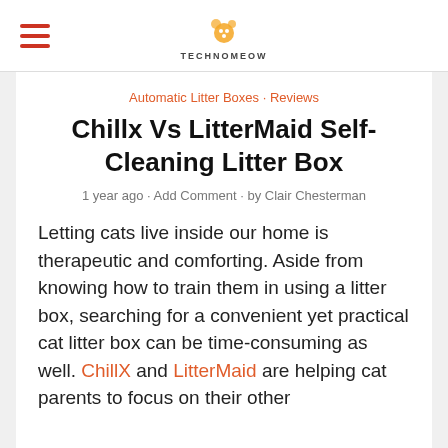TECHNOMEOW
Automatic Litter Boxes · Reviews
Chillx Vs LitterMaid Self-Cleaning Litter Box
1 year ago · Add Comment · by Clair Chesterman
Letting cats live inside our home is therapeutic and comforting. Aside from knowing how to train them in using a litter box, searching for a convenient yet practical cat litter box can be time-consuming as well. ChillX and LitterMaid are helping cat parents to focus on their other